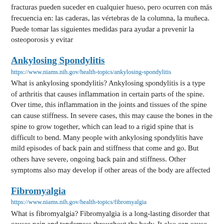fracturas pueden suceder en cualquier hueso, pero ocurren con más frecuencia en: las caderas, las vértebras de la columna, la muñeca. Puede tomar las siguientes medidas para ayudar a prevenir la osteoporosis y evitar
Ankylosing Spondylitis
https://www.niams.nih.gov/health-topics/ankylosing-spondylitis
What is ankylosing spondylitis? Ankylosing spondylitis is a type of arthritis that causes inflammation in certain parts of the spine. Over time, this inflammation in the joints and tissues of the spine can cause stiffness. In severe cases, this may cause the bones in the spine to grow together, which can lead to a rigid spine that is difficult to bend. Many people with ankylosing spondylitis have mild episodes of back pain and stiffness that come and go. But others have severe, ongoing back pain and stiffness. Other symptoms also may develop if other areas of the body are affected
Fibromyalgia
https://www.niams.nih.gov/health-topics/fibromyalgia
What is fibromyalgia? Fibromyalgia is a long-lasting disorder that causes pain and tenderness throughout the body. It also can cause you to feel overly tired (fatigue) and have trouble sleeping. Doctors do not fully understand what causes fibromyalgia, but people with